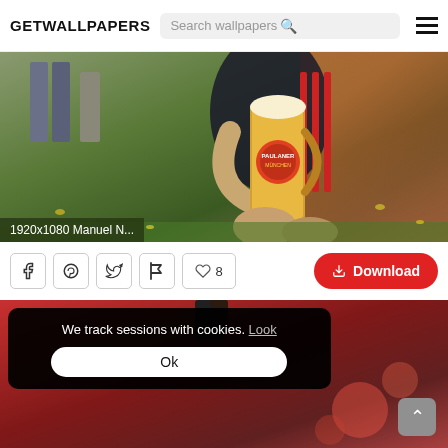GETWALLPAPERS — Search wallpapers
[Figure (photo): Soccer player in dark jersey holding a large beer stein, bending over on a grass field. Caption overlay shows '1920x1080 Manuel N...']
1920x1080 Manuel N...
Facebook share, Pinterest share, Twitter share, Flag, ♡ 8, Download
[Figure (photo): Second wallpaper thumbnail partially visible — player in red jersey, with a cookie consent overlay dialog showing 'We track sessions with cookies. Look' and an 'Ok' button. A scroll-to-top button is visible at bottom right.]
We track sessions with cookies. Look
Ok